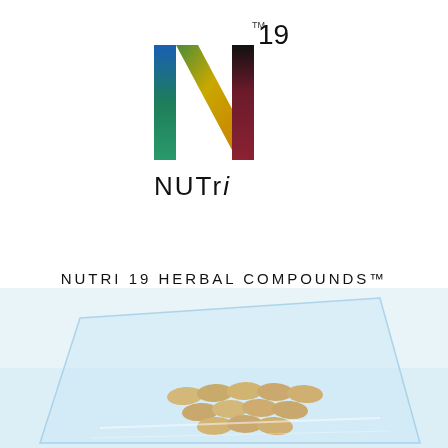[Figure (logo): Wombniversal Nutri 19 logo — a colorful N shape with rainbow gradient (blue, green, gold, red, dark) and the text 'NUTri' below, with a superscript TM and '19' to the upper right]
NUTRI 19 HERBAL COMPOUNDS™
by Dr. Tisa Muhammad
[Figure (photo): Photo of herbal supplement capsules (tan/beige colored) on a shiny reflective surface, partially wrapped in clear plastic packaging, with a light blue tinted background]